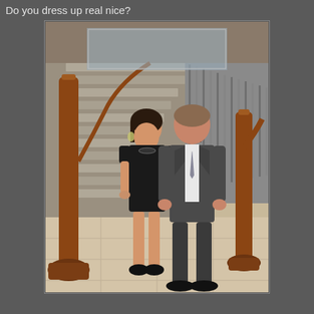Do you dress up real nice?
[Figure (photo): A couple dressed formally standing in front of an elegant staircase with wooden and metal railings on what appears to be a cruise ship. The woman is wearing a short black dress and black heels, and the man is wearing a dark grey suit with a tie.]